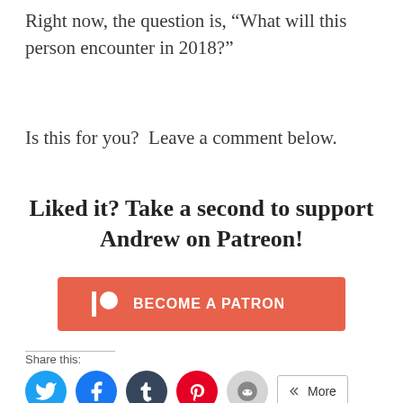Right now, the question is, “What will this person encounter in 2018?”
Is this for you?  Leave a comment below.
Liked it? Take a second to support Andrew on Patreon!
[Figure (other): Patreon 'Become a Patron' button in orange/red]
Share this:
[Figure (other): Social share icons: Twitter, Facebook, Tumblr, Pinterest, Reddit, and a More button]